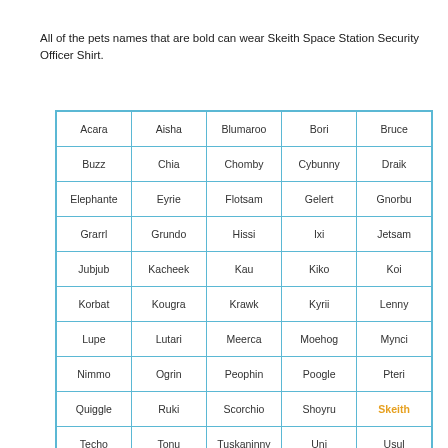All of the pets names that are bold can wear Skeith Space Station Security Officer Shirt.
| Acara | Aisha | Blumaroo | Bori | Bruce |
| Buzz | Chia | Chomby | Cybunny | Draik |
| Elephante | Eyrie | Flotsam | Gelert | Gnorbu |
| Grarrl | Grundo | Hissi | Ixi | Jetsam |
| Jubjub | Kacheek | Kau | Kiko | Koi |
| Korbat | Kougra | Krawk | Kyrii | Lenny |
| Lupe | Lutari | Meerca | Moehog | Mynci |
| Nimmo | Ogrin | Peophin | Poogle | Pteri |
| Quiggle | Ruki | Scorchio | Shoyru | Skeith |
| Techo | Tonu | Tuskaninny | Uni | Usul |